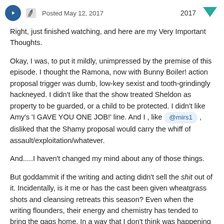Posted May 12, 2017   2017
Right, just finished watching, and here are my Very Important Thoughts.
Okay, I was, to put it mildly, unimpressed by the premise of this episode. I thought the Ramona, now with Bunny Boiler! action proposal trigger was dumb, low-key sexist and tooth-grindingly hackneyed. I didn't like that the show treated Sheldon as property to be guarded, or a child to be protected. I didn't like Amy's 'I GAVE YOU ONE JOB!' line. And I , like @mirs1, disliked that the Shamy proposal would carry the whiff of assault/exploitation/whatever.
And.....I haven't changed my mind about any of those things.
But goddammit if the writing and acting didn't sell the shit out of it. Incidentally, is it me or has the cast been given wheatgrass shots and cleansing retreats this season? Even when the writing flounders, their energy and chemistry has tended to bring the gags home. In a way that I don't think was happening with the limp back halves of seasons past.
I mean, even when I'm wincing at Amy's ketchup bottle line, or the